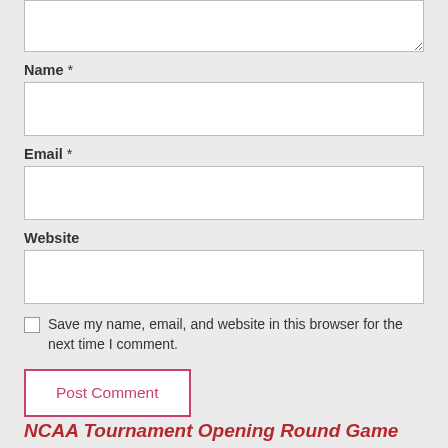Name *
Email *
Website
Save my name, email, and website in this browser for the next time I comment.
Post Comment
NCAA Tournament Opening Round Game